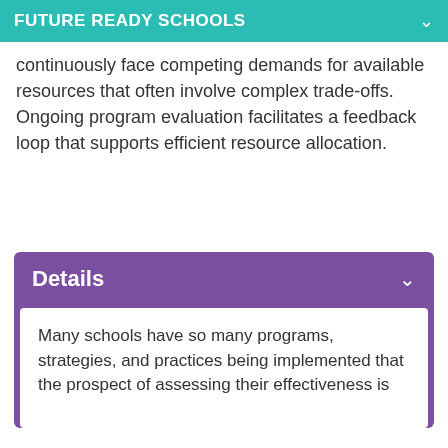FUTURE READY SCHOOLS
continuously face competing demands for available resources that often involve complex trade-offs. Ongoing program evaluation facilitates a feedback loop that supports efficient resource allocation.
Details
Many schools have so many programs, strategies, and practices being implemented that the prospect of assessing their effectiveness is